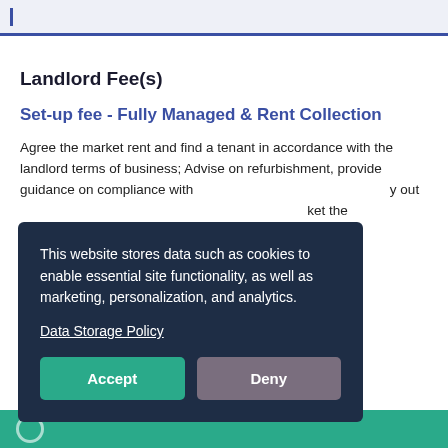Landlord Fee(s)
Set-up fee - Fully Managed & Rent Collection
Agree the market rent and find a tenant in accordance with the landlord terms of business; Advise on refurbishment, provide guidance on compliance with ... out ... ket the ... ct board ... Country ... ax status
This website stores data such as cookies to enable essential site functionality, as well as marketing, personalization, and analytics.

Data Storage Policy
Accept
Deny